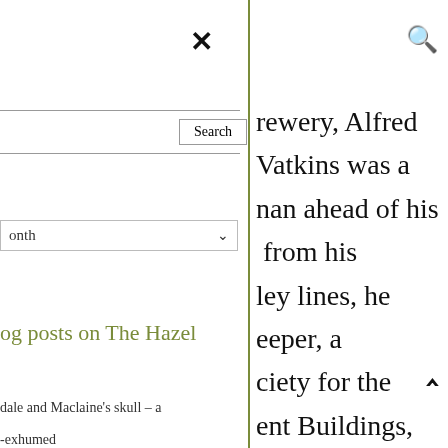[Figure (screenshot): Close/X button icon in left panel navigation]
[Figure (screenshot): Search magnifying glass icon in right panel header]
[Figure (screenshot): Search input box with Search button]
[Figure (screenshot): Month dropdown selector]
og posts on The Hazel
dale and Maclaine's skull – a
-exhumed
rewery, Alfred Watkins was a nan ahead of his from his ley lines, he eeper, a ciety for the ent Buildings, ne Royal iety. He ins Bee Meter, osure meter the atch, for use